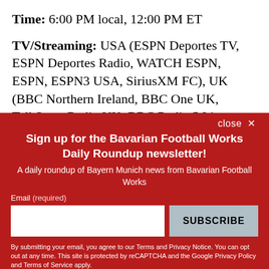Time: 6:00 PM local, 12:00 PM ET
TV/Streaming: USA (ESPN Deportes TV, ESPN Deportes Radio, WATCH ESPN, ESPN, ESPN3 USA, SiriusXM FC), UK (BBC Northern Ireland, BBC One UK, TalkSport Radio UK, BBC Radio 5 Live, BBC Red
close ×
Sign up for the Bavarian Football Works Daily Roundup newsletter!
A daily roundup of Bayern Munich news from Bavarian Football Works
Email (required)
SUBSCRIBE
By submitting your email, you agree to our Terms and Privacy Notice. You can opt out at any time. This site is protected by reCAPTCHA and the Google Privacy Policy and Terms of Service apply.